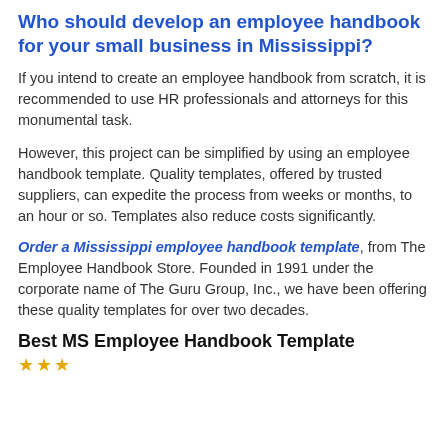Who should develop an employee handbook for your small business in Mississippi?
If you intend to create an employee handbook from scratch, it is recommended to use HR professionals and attorneys for this monumental task.
However, this project can be simplified by using an employee handbook template. Quality templates, offered by trusted suppliers, can expedite the process from weeks or months, to an hour or so. Templates also reduce costs significantly.
Order a Mississippi employee handbook template, from The Employee Handbook Store. Founded in 1991 under the corporate name of The Guru Group, Inc., we have been offering these quality templates for over two decades.
Best MS Employee Handbook Template